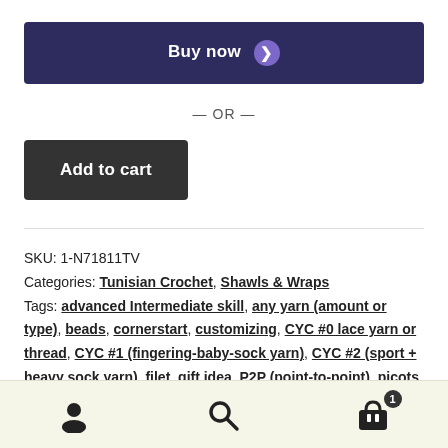Buy now →
— OR —
Add to cart
SKU: 1-N71811TV
Categories: Tunisian Crochet, Shawls & Wraps
Tags: advanced Intermediate skill, any yarn (amount or type), beads, cornerstart, customizing, CYC #0 lace yarn or thread, CYC #1 (fingering-baby-sock yarn), CYC #2 (sport + heavy sock yarn), filet, gift idea, P2P (point-to-point), picots, season: spring,